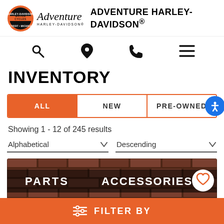[Figure (logo): Adventure Harley-Davidson logo with orange HD badge and stylized cursive Adventure text]
ADVENTURE HARLEY-DAVIDSON®
[Figure (infographic): Navigation icons: search magnifying glass, location pin, phone, hamburger menu]
INVENTORY
[Figure (infographic): Tab bar with three options: ALL (active, orange), NEW, PRE-OWNED, with blue accessibility button]
Showing 1 - 12 of 245 results
Alphabetical ▼   Descending ▼
[Figure (photo): Brick wall storefront with PARTS and ACCESSORIES signs, heart/favorite button in corner]
FILTER BY